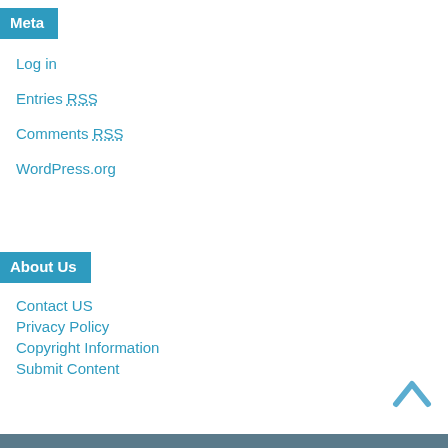Meta
Log in
Entries RSS
Comments RSS
WordPress.org
About Us
Contact US
Privacy Policy
Copyright Information
Submit Content